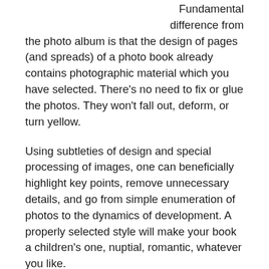Fundamental difference from the photo album is that the design of pages (and spreads) of a photo book already contains photographic material which you have selected. There's no need to fix or glue the photos. They won't fall out, deform, or turn yellow.
Using subtleties of design and special processing of images, one can beneficially highlight key points, remove unnecessary details, and go from simple enumeration of photos to the dynamics of development. A properly selected style will make your book a children's one, nuptial, romantic, whatever you like.
We offer you a variety of formats, volumes and quality options of photo books to choose from